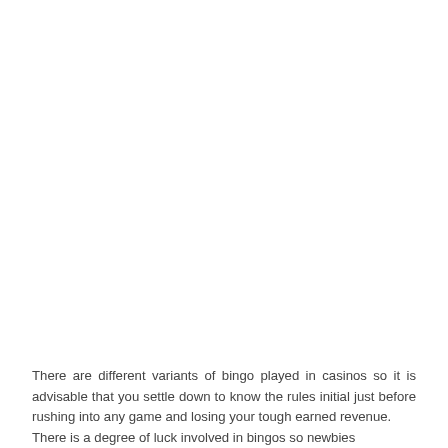There are different variants of bingo played in casinos so it is advisable that you settle down to know the rules initial just before rushing into any game and losing your tough earned revenue.
There is a degree of luck involved in bingos so newbies should not assume they are going to always beat the odds.